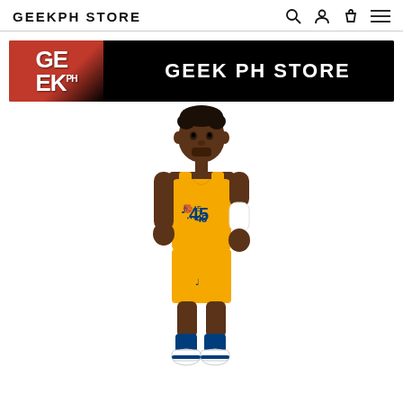GEEKPH STORE
[Figure (illustration): Geek PH Store banner with red and black background, GEEK PH STORE text logo on right]
[Figure (illustration): Vinyl/cartoon figurine of NBA player Donovan Mitchell wearing Utah Jazz yellow jersey number 45 with blue shorts and white arm sleeve]